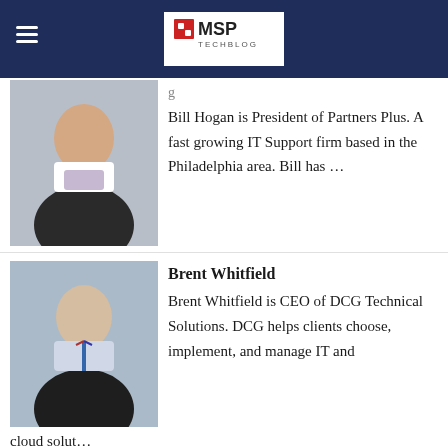MSP TechBlog
[Figure (photo): Professional headshot of Bill Hogan, a middle-aged man in a dark suit]
Bill Hogan is President of Partners Plus. A fast growing IT Support firm based in the Philadelphia area. Bill has ...
Brent Whitfield
[Figure (photo): Professional headshot of Brent Whitfield, a man with short hair in a dark suit with striped tie]
Brent Whitfield is CEO of DCG Technical Solutions. DCG helps clients choose, implement, and manage IT and cloud solut...
Bryan Fuller
[Figure (photo): Professional headshot of Bryan Fuller, a younger man in a dark suit]
Bryan Fuller has been the President and Chief Executive